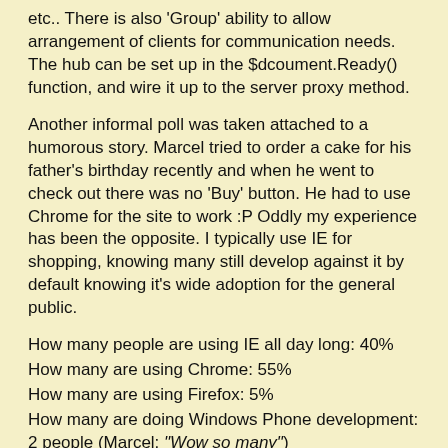etc.. There is also 'Group' ability to allow arrangement of clients for communication needs. The hub can be set up in the $dcoument.Ready() function, and wire it up to the server proxy method.
Another informal poll was taken attached to a humorous story. Marcel tried to order a cake for his father's birthday recently and when he went to check out there was no 'Buy' button. He had to use Chrome for the site to work :P Oddly my experience has been the opposite. I typically use IE for shopping, knowing many still develop against it by default knowing it's wide adoption for the general public.
How many people are using IE all day long: 40%
How many are using Chrome: 55%
How many are using Firefox: 5%
How many are doing Windows Phone development: 2 people (Marcel: "Wow so many")
How many are doing WinRT: 2 people (Marcel: "Wow Microsoft is really moving along with that")